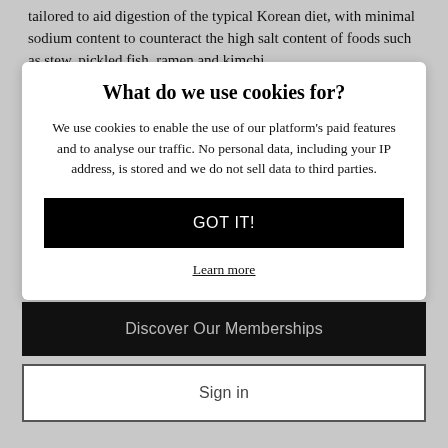tailored to aid digestion of the typical Korean diet, with minimal sodium content to counteract the high salt content of foods such as stew, pickled fish, ramen and kimchi.
What do we use cookies for?
We use cookies to enable the use of our platform's paid features and to analyse our traffic. No personal data, including your IP address, is stored and we do not sell data to third parties.
GOT IT!
Learn more
Discover Our Memberships
Sign in